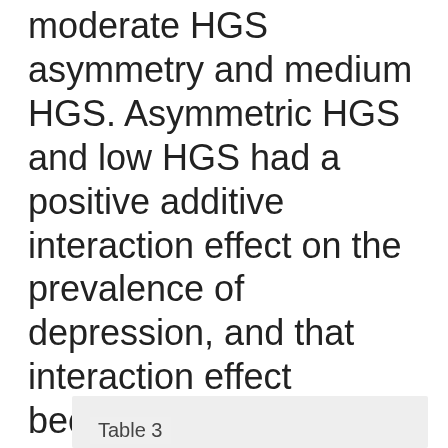moderate HGS asymmetry and medium HGS. Asymmetric HGS and low HGS had a positive additive interaction effect on the prevalence of depression, and that interaction effect became stronger with the degree of HGS asymmetry and weakness.
Table 3